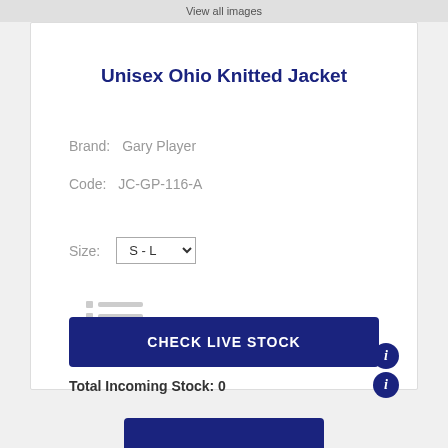View all images
Unisex Ohio Knitted Jacket
Brand: Gary Player
Code: JC-GP-116-A
Size: S - L
[Figure (other): Small skeleton/list placeholder icon with three rows of gray dots and lines]
Total Stock on Hand: 3,967
Total Incoming Stock: 0
CHECK LIVE STOCK